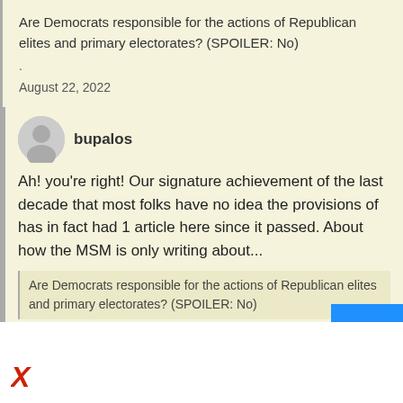Are Democrats responsible for the actions of Republican elites and primary electorates? (SPOILER: No)
.
August 22, 2022
bupalos
Ah! you're right! Our signature achievement of the last decade that most folks have no idea the provisions of has in fact had 1 article here since it passed. About how the MSM is only writing about...
Are Democrats responsible for the actions of Republican elites and primary electorates? (SPOILER: No)